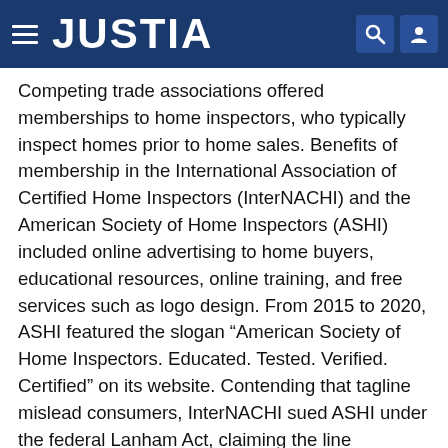JUSTIA
Competing trade associations offered memberships to home inspectors, who typically inspect homes prior to home sales. Benefits of membership in the International Association of Certified Home Inspectors (InterNACHI) and the American Society of Home Inspectors (ASHI) included online advertising to home buyers, educational resources, online training, and free services such as logo design. From 2015 to 2020, ASHI featured the slogan “American Society of Home Inspectors. Educated. Tested. Verified. Certified” on its website. Contending that tagline mislead consumers, InterNACHI sued ASHI under the federal Lanham Act, claiming the line constituted false advertising because it inaccurately portrayed ASHI’s entire membership as being educated, tested, verified, and certified, even though its membership includes so-called “novice” inspectors who had yet to complete training or become certified.